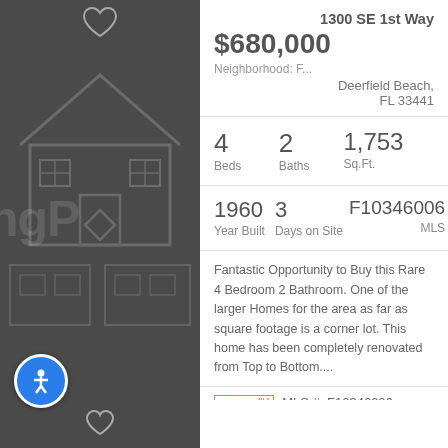[Figure (screenshot): Dark left panel with house outline illustration and logo overlay showing 'ngP' text in light gray]
1300 SE 1st Way
$680,000
Neighborhood: F...
Deerfield Beach, FL 33441
4 Beds
2 Baths
1,753 Sq.Ft.
1960 Year Built
3 Days on Site
F10346006 MLS
Fantastic Opportunity to Buy this Rare 4 Bedroom 2 Bathroom. One of the larger Homes for the area as far as square footage is a corner lot. This home has been completely renovated from Top to Bottom....
MLS #: F10346006